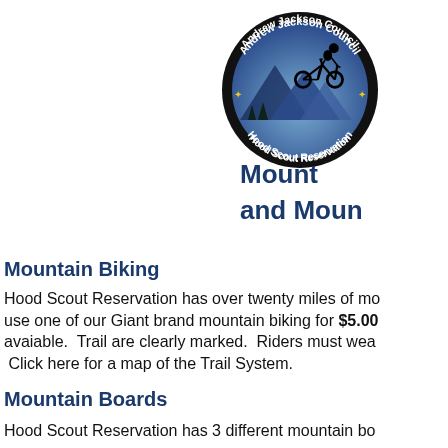[Figure (logo): Andrew Jackson Council Hood Scout Reservation circular logo with mountain biker silhouette on blue mountain background]
Mount and Moun
Mountain Biking
Hood Scout Reservation has over twenty miles of mo use one of our Giant brand mountain biking for $5.00 avaiable.  Trail are clearly marked.  Riders must wea  Click here for a map of the Trail System.
Mountain Boards
Hood Scout Reservation has 3 different mountain bo